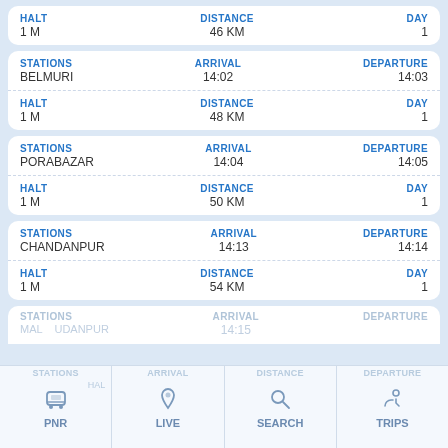| HALT | DISTANCE | DAY |
| --- | --- | --- |
| 1 M | 46 KM | 1 |
| STATIONS | ARRIVAL | DEPARTURE |
| --- | --- | --- |
| BELMURI | 14:02 | 14:03 |
| HALT | DISTANCE | DAY |
| --- | --- | --- |
| 1 M | 48 KM | 1 |
| STATIONS | ARRIVAL | DEPARTURE |
| --- | --- | --- |
| PORABAZAR | 14:04 | 14:05 |
| HALT | DISTANCE | DAY |
| --- | --- | --- |
| 1 M | 50 KM | 1 |
| STATIONS | ARRIVAL | DEPARTURE |
| --- | --- | --- |
| CHANDANPUR | 14:13 | 14:14 |
| HALT | DISTANCE | DAY |
| --- | --- | --- |
| 1 M | 54 KM | 1 |
PNR | LIVE | SEARCH | TRIPS